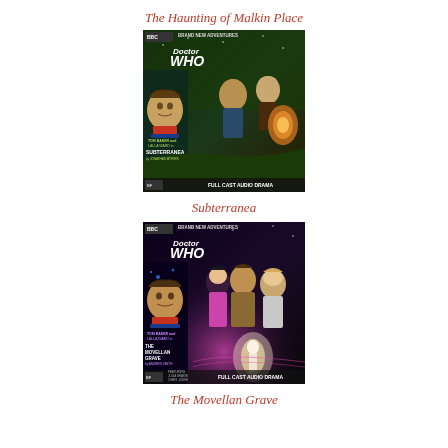The Haunting of Malkin Place
[Figure (illustration): Doctor Who Brand New Adventures audio drama cover art for 'Subterranea' by Jonathan Morris, featuring Tom Baker and Lalla Ward. Shows the Fourth Doctor's face, two figures against a green alien landscape, and a glowing creature.]
Subterranea
[Figure (illustration): Doctor Who Brand New Adventures full cast audio drama cover art for 'The Movellan Grave' by Andrew Smith, featuring Tom Baker and Lalla Ward. Shows the Fourth Doctor with two women and a glowing figure against a purple/pink background.]
The Movellan Grave